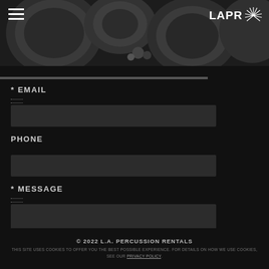[Figure (photo): Black and white photograph of percussion instruments (drums/cymbals) from above, header banner of L.A. Percussion Rentals website]
LAPR (L.A. Percussion Rentals logo with sunburst icon)
* EMAIL
PHONE
* MESSAGE
© 2022 L.A. PERCUSSION RENTALS
THIS SITE USES COOKIES TO OFFER YOU THE BEST POSSIBLE EXPERIENCE. FOR DETAILS ON HOW WE USE COOKIES, SEE OUR PRIVACY POLICY.